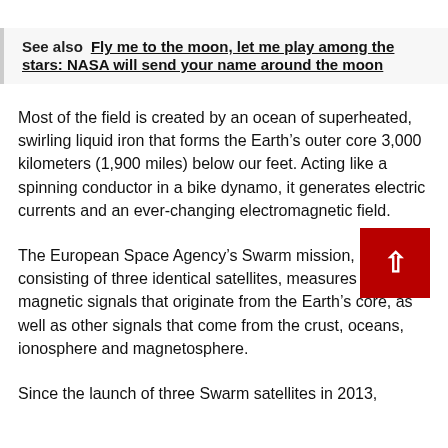See also  Fly me to the moon, let me play among the stars: NASA will send your name around the moon
Most of the field is created by an ocean of superheated, swirling liquid iron that forms the Earth's outer core 3,000 kilometers (1,900 miles) below our feet. Acting like a spinning conductor in a bike dynamo, it generates electric currents and an ever-changing electromagnetic field.
The European Space Agency's Swarm mission, consisting of three identical satellites, measures these magnetic signals that originate from the Earth's core, as well as other signals that come from the crust, oceans, ionosphere and magnetosphere.
Since the launch of three Swarm satellites in 2013,